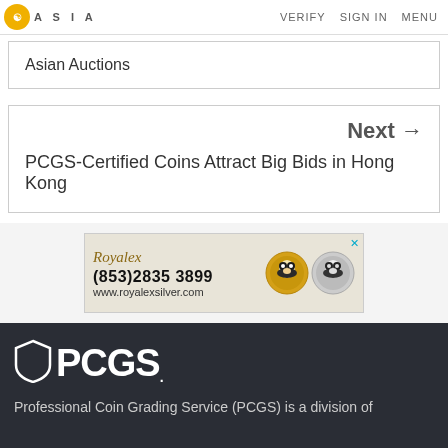ASIA  VERIFY  SIGN IN  MENU
Asian Auctions
Next →
PCGS-Certified Coins Attract Big Bids in Hong Kong
[Figure (advertisement): Royalex advertisement with phone (853)2835 3899 and www.royalexsilver.com, showing gold and silver panda coins]
[Figure (logo): PCGS shield logo with wordmark 'PCGS.']
Professional Coin Grading Service (PCGS) is a division of